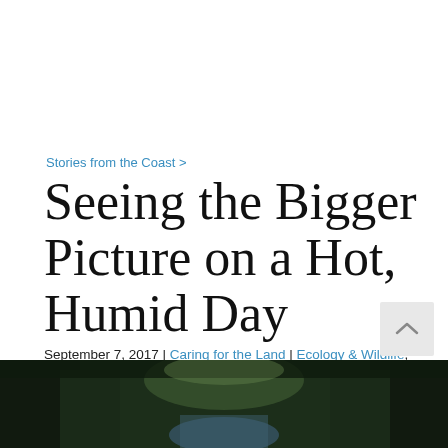Stories from the Coast >
Seeing the Bigger Picture on a Hot, Humid Day
September 7, 2017 | Caring for the Land | Ecology & Wildlife, Land Protection, Land Trust Leadership
[Figure (photo): Photograph of a forested path or stream, dark and lush, visible at the bottom of the page]